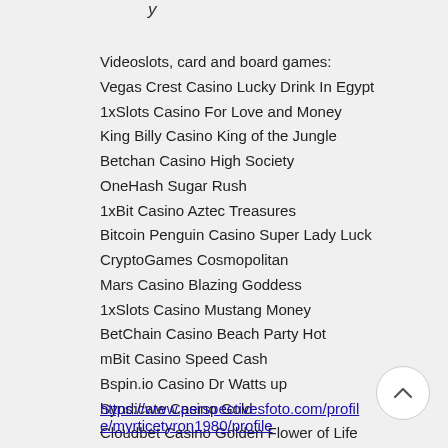y
Videoslots, card and board games:
Vegas Crest Casino Lucky Drink In Egypt
1xSlots Casino For Love and Money
King Billy Casino King of the Jungle
Betchan Casino High Society
OneHash Sugar Rush
1xBit Casino Aztec Treasures
Bitcoin Penguin Casino Super Lady Luck
CryptoGames Cosmopolitan
Mars Casino Blazing Goddess
1xSlots Casino Mustang Money
BetChain Casino Beach Party Hot
mBit Casino Speed Cash
Bspin.io Casino Dr Watts up
Syndicate Casino Gold
Cloudbet Casino Golden Flower of Life
https://www.perspectivesfoto.com/profile/myrticetyron1980/profile